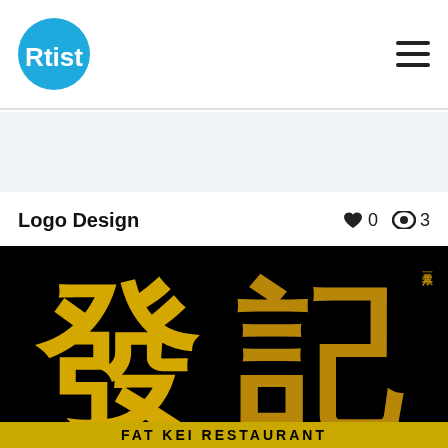[Figure (logo): Rtist logo — circular blue badge with white text 'Rtist']
[Figure (other): Hamburger menu icon (three horizontal lines)]
Logo Design
♥ 0   👁 3
[Figure (logo): Black background logo with large gold Chinese characters 发記 (Fat Kei) and vertical Chinese text on the right side. Bottom strip shows partial text 'FAT KEI RESTAURANT']